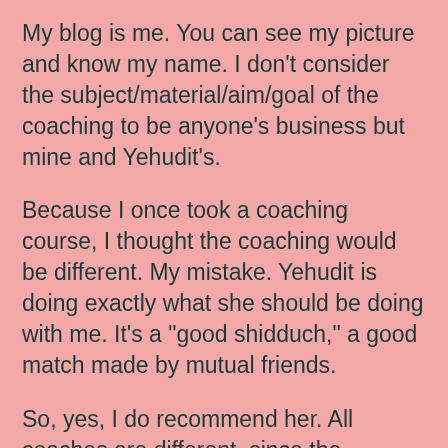My blog is me. You can see my picture and know my name. I don't consider the subject/material/aim/goal of the coaching to be anyone's business but mine and Yehudit's.
Because I once took a coaching course, I thought the coaching would be different. My mistake. Yehudit is doing exactly what she should be doing with me. It's a "good shidduch," a good match made by mutual friends.
So, yes, I do recommend her. All coaches are different, since the profession is interpreted personally by whoever is doing the coaching.